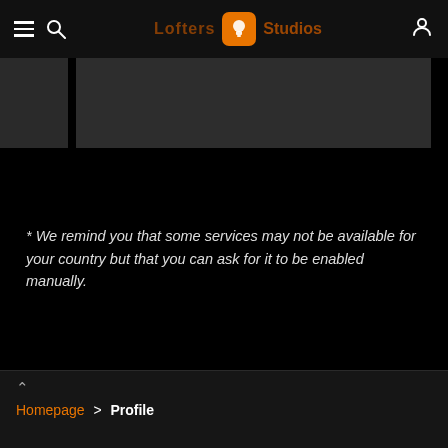Lofters Studios — navigation bar with hamburger menu, search, logo, and profile icon
[Figure (screenshot): Dark banner/header image area with two dark rectangular blocks side by side]
* We remind you that some services may not be available for your country but that you can ask for it to be enabled manually.
Homepage > Profile